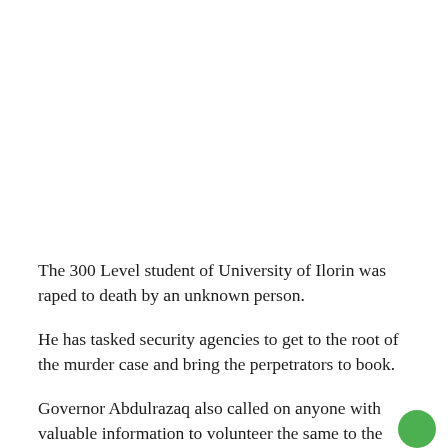The 300 Level student of University of Ilorin was raped to death by an unknown person.
He has tasked security agencies to get to the root of the murder case and bring the perpetrators to book.
Governor Abdulrazaq also called on anyone with valuable information to volunteer the same to the security agencies